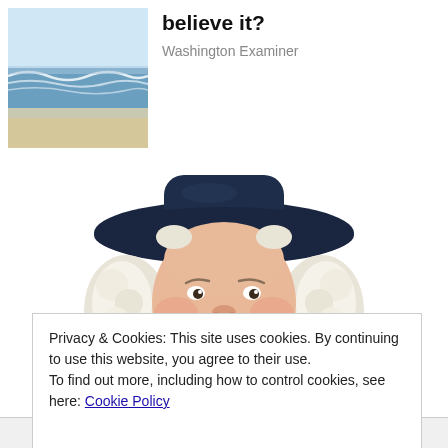[Figure (photo): Beach thumbnail image with ocean waves and sandy shore]
believe it?
Washington Examiner
[Figure (illustration): Quaker Oats man illustration — a smiling man with white curly hair wearing a dark blue wide-brim hat and dark period clothing]
Privacy & Cookies: This site uses cookies. By continuing to use this website, you agree to their use.
To find out more, including how to control cookies, see here: Cookie Policy
Close and accept